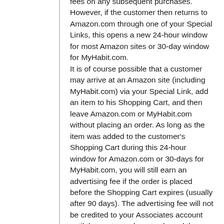fees on any subsequent purchases. However, if the customer then returns to Amazon.com through one of your Special Links, this opens a new 24-hour window for most Amazon sites or 30-day window for MyHabit.com. It is of course possible that a customer may arrive at an Amazon site (including MyHabit.com) via your Special Link, add an item to his Shopping Cart, and then leave Amazon.com or MyHabit.com without placing an order. As long as the item was added to the customer's Shopping Cart during this 24-hour window for Amazon.com or 30-days for MyHabit.com, you will still earn an advertising fee if the order is placed before the Shopping Cart expires (usually after 90 days). The advertising fee will not be credited to your Associates account until the customer has purchased the item, accepted delivery, and remitted full payment to